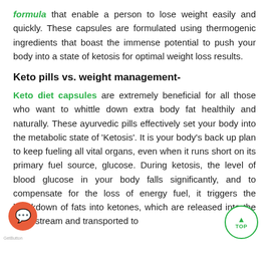formula that enable a person to lose weight easily and quickly. These capsules are formulated using thermogenic ingredients that boast the immense potential to push your body into a state of ketosis for optimal weight loss results.
Keto pills vs. weight management-
Keto diet capsules are extremely beneficial for all those who want to whittle down extra body fat healthily and naturally. These ayurvedic pills effectively set your body into the metabolic state of 'Ketosis'. It is your body's back up plan to keep fueling all vital organs, even when it runs short on its primary fuel source, glucose. During ketosis, the level of blood glucose in your body falls significantly, and to compensate for the loss of energy fuel, it triggers the breakdown of fats into ketones, which are released into the bloodstream and transported to